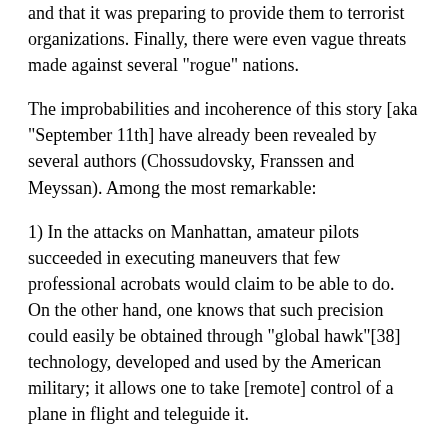and that it was preparing to provide them to terrorist organizations. Finally, there were even vague threats made against several "rogue" nations.
The improbabilities and incoherence of this story [aka "September 11th] have already been revealed by several authors (Chossudovsky, Franssen and Meyssan). Among the most remarkable:
1) In the attacks on Manhattan, amateur pilots succeeded in executing maneuvers that few professional acrobats would claim to be able to do. On the other hand, one knows that such precision could easily be obtained through "global hawk"[38] technology, developed and used by the American military; it allows one to take [remote] control of a plane in flight and teleguide it.